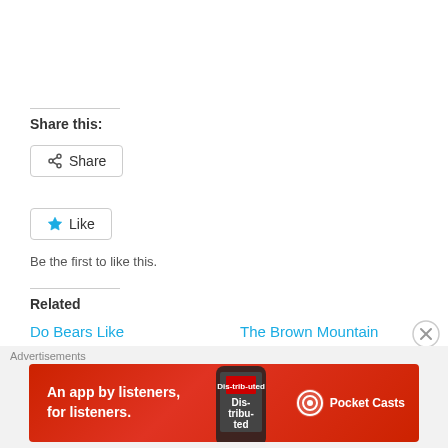Share this:
Share
Like
Be the first to like this.
Related
Do Bears Like Rollercoasters?
The Brown Mountain Adventure
Advertisements
[Figure (other): Pocket Casts advertisement banner: red background with phone image, text 'An app by listeners, for listeners.' and Pocket Casts logo]